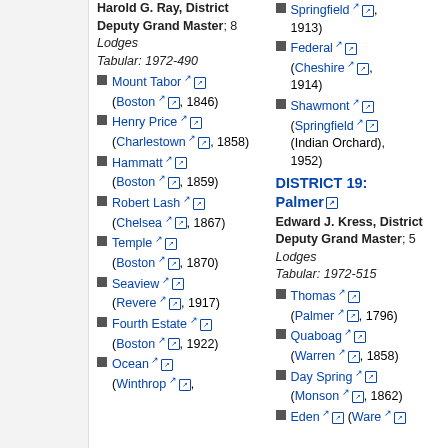Springfield (Indian Orchard), 1913)
Federal (Cheshire, 1914)
Shawmont (Springfield (Indian Orchard), 1952)
DISTRICT 19: Palmer
Edward J. Kress, District Deputy Grand Master; 5 Lodges Tabular: 1972-515
Thomas (Palmer, 1796)
Quaboag (Warren, 1858)
Day Spring (Monson, 1862)
Eden (Ware...)
Harold G. Ray, District Deputy Grand Master; 8 Lodges Tabular: 1972-490
Mount Tabor (Boston, 1846)
Henry Price (Charlestown, 1858)
Hammatt (Boston, 1859)
Robert Lash (Chelsea, 1867)
Temple (Boston, 1870)
Seaview (Revere, 1917)
Fourth Estate (Boston, 1922)
Ocean (Winthrop,